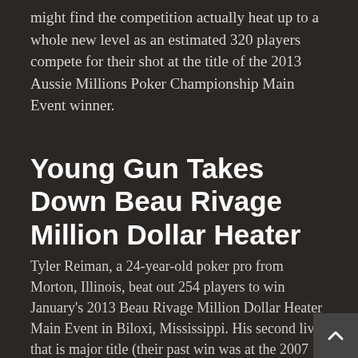might find the competition actually heat up to a whole new level as an estimated 320 players compete for their shot at the title of the 2013 Aussie Millions Poker Championship Main Event winner.
Young Gun Takes Down Beau Rivage Million Dollar Heater
Tyler Reiman, a 24-year-old poker pro from Morton, Illinois, beat out 254 players to win January's 2013 Beau Rivage Million Dollar Heater Main Event in Biloxi, Mississippi. His second live that is major title (their past win was at the 2007 Heartland Poker Tour No Limit Hold'em Championship Event), Reiman walked away with...